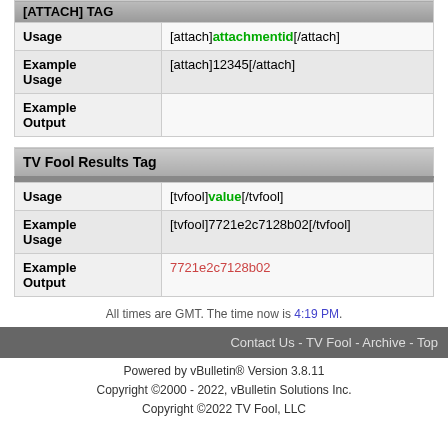| [ATTACH] TAG |
| --- |
| Usage | [attach]attachmentid[/attach] |
| Example Usage | [attach]12345[/attach] |
| Example Output |  |
| TV Fool Results Tag |
| --- |
| Usage | [tvfool]value[/tvfool] |
| Example Usage | [tvfool]7721e2c7128b02[/tvfool] |
| Example Output | 7721e2c7128b02 |
All times are GMT. The time now is 4:19 PM.
Contact Us - TV Fool - Archive - Top
Powered by vBulletin® Version 3.8.11
Copyright ©2000 - 2022, vBulletin Solutions Inc.
Copyright ©2022 TV Fool, LLC